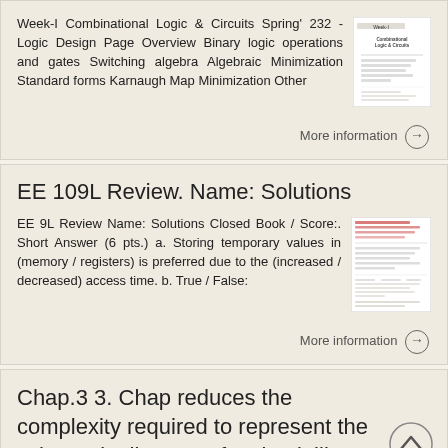Week-I Combinational Logic & Circuits Spring' 232 - Logic Design Page Overview Binary logic operations and gates Switching algebra Algebraic Minimization Standard forms Karnaugh Map Minimization Other
[Figure (screenshot): Thumbnail of Week-I Combinational Logic & Circuits document page]
More information →
EE 109L Review. Name: Solutions
EE 9L Review Name: Solutions Closed Book / Score:. Short Answer (6 pts.) a. Storing temporary values in (memory / registers) is preferred due to the (increased / decreased) access time. b. True / False:
[Figure (screenshot): Thumbnail of EE 109L Review document page with red markings]
More information →
Chap.3 3. Chap reduces the complexity required to represent the schematic diagram of a circuit library